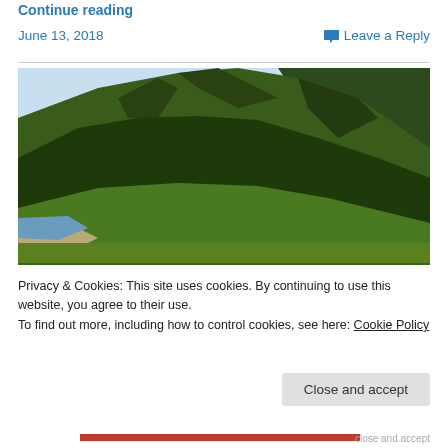Continue reading
June 13, 2018
Leave a Reply
[Figure (photo): Green grassy mountain hillside with rocky cliffs, a small beach and water visible at the lower left, under a light blue sky.]
Privacy & Cookies: This site uses cookies. By continuing to use this website, you agree to their use.
To find out more, including how to control cookies, see here: Cookie Policy
Close and accept